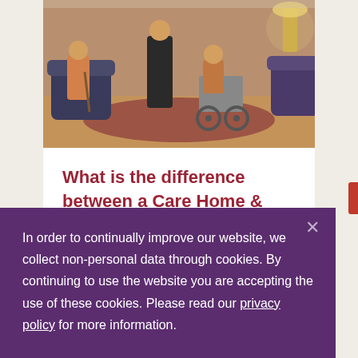[Figure (photo): Indoor care home scene with a caregiver standing near a person in a wheelchair, another person seated in an armchair, warm interior with rugs and furniture]
What is the difference between a Care Home & Nursing Home?
In order to continually improve our website, we collect non-personal data through cookies. By continuing to use the website you are accepting the use of these cookies. Please read our privacy policy for more information.